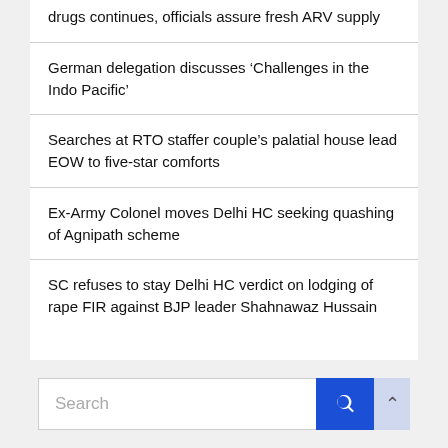drugs continues, officials assure fresh ARV supply
German delegation discusses ‘Challenges in the Indo Pacific’
Searches at RTO staffer couple’s palatial house lead EOW to five-star comforts
Ex-Army Colonel moves Delhi HC seeking quashing of Agnipath scheme
SC refuses to stay Delhi HC verdict on lodging of rape FIR against BJP leader Shahnawaz Hussain